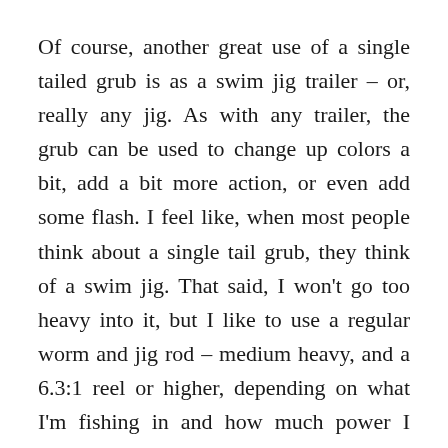Of course, another great use of a single tailed grub is as a swim jig trailer – or, really any jig. As with any trailer, the grub can be used to change up colors a bit, add a bit more action, or even add some flash. I feel like, when most people think about a single tail grub, they think of a swim jig. That said, I won't go too heavy into it, but I like to use a regular worm and jig rod – medium heavy, and a 6.3:1 reel or higher, depending on what I'm fishing in and how much power I think I'll need to get the fish out of whatever cover is around. When I'm fishing a lot of vegetation, I tend to go with braid, as that cuts through vegetation when I'm bringing the fish in. Depending on water color, I may or may not use braid at other times. If the water is gin clear, for